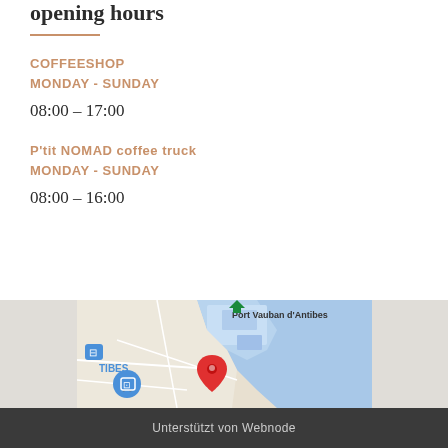opening hours
COFFEESHOP
MONDAY - SUNDAY
08:00 – 17:00
P'tit NOMAD coffee truck
MONDAY - SUNDAY
08:00 – 16:00
[Figure (map): Google Maps screenshot showing Port Vauban d'Antibes area with a red location pin marker and a blue shopping cart marker near TIBES area]
Unterstützt von Webnode